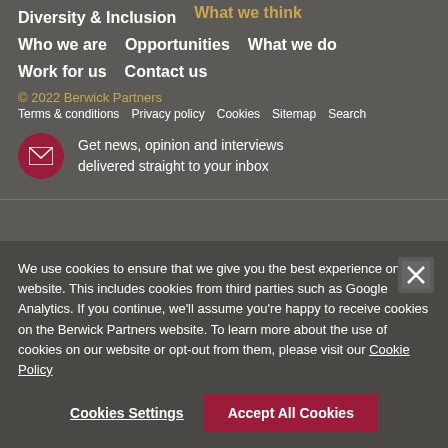Diversity & Inclusion | What we think
Who we are | Opportunities | What we do
Work for us | Contact us
© 2022 Berwick Partners
Terms & conditions | Privacy policy | Cookies | Sitemap | Search
Get news, opinion and interviews delivered straight to your inbox
We use cookies to ensure that we give you the best experience on our website. This includes cookies from third parties such as Google Analytics. If you continue, we'll assume you're happy to receive cookies on the Berwick Partners website. To learn more about the use of cookies on our website or opt-out from them, please visit our Cookie Policy
Cookies Settings | Accept All Cookies